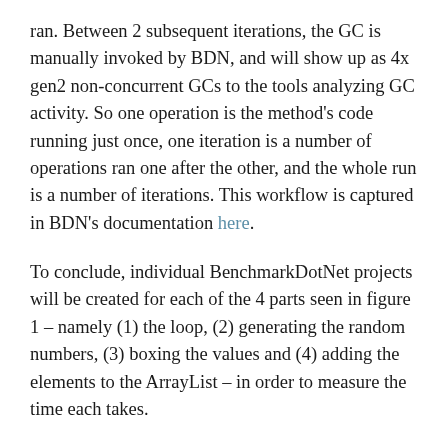ran. Between 2 subsequent iterations, the GC is manually invoked by BDN, and will show up as 4x gen2 non-concurrent GCs to the tools analyzing GC activity. So one operation is the method's code running just once, one iteration is a number of operations ran one after the other, and the whole run is a number of iterations. This workflow is captured in BDN's documentation here.
To conclude, individual BenchmarkDotNet projects will be created for each of the 4 parts seen in figure 1 – namely (1) the loop, (2) generating the random numbers, (3) boxing the values and (4) adding the elements to the ArrayList – in order to measure the time each takes.
Assembly Code